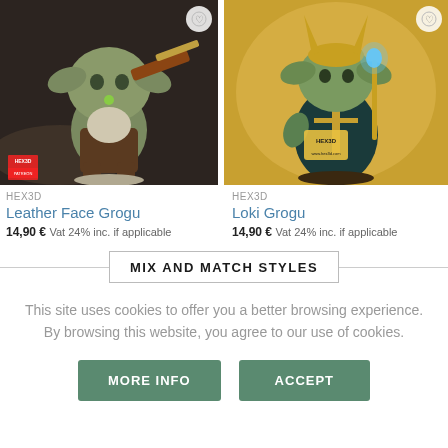[Figure (photo): 3D rendered figurine of Grogu (Baby Yoda) as Leatherface holding a chainsaw, dark background]
[Figure (photo): 3D rendered figurine of Grogu (Baby Yoda) as Loki with golden horned helmet and scepter, gold background with HEX3D logo]
HEX3D
Leather Face Grogu
14,90 € Vat 24% inc. if applicable
HEX3D
Loki Grogu
14,90 € Vat 24% inc. if applicable
MIX AND MATCH STYLES
This site uses cookies to offer you a better browsing experience. By browsing this website, you agree to our use of cookies.
MORE INFO
ACCEPT